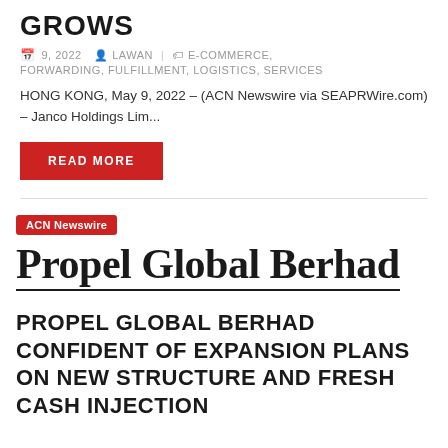GROWS
9, 2022  LAWAN  |  E-COMMERCE, FORWARDING, FULFILLMENT, LOGISTICS, SERVICES
HONG KONG, May 9, 2022 – (ACN Newswire via SEAPRWire.com) – Janco Holdings Lim...
READ MORE
[Figure (logo): Propel Global Berhad company logo with ACN Newswire badge]
PROPEL GLOBAL BERHAD CONFIDENT OF EXPANSION PLANS ON NEW STRUCTURE AND FRESH CASH INJECTION